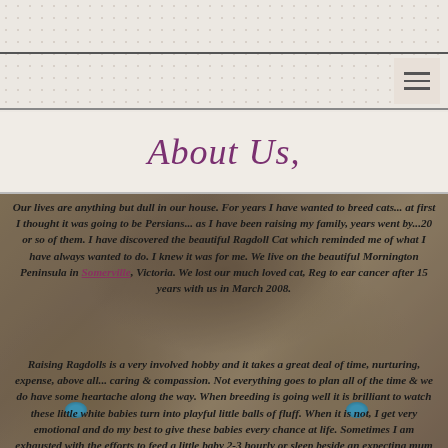About Us,
Our lives are anything but dull in our house. For years I have wanted to breed cats... at first I thought it was going to be Persians... as I have been raising my family, years went by...20 or so of them. I have discovered the beautiful Ragdoll Cat which reminded me of what I have always wanted to do. I knew it was for me. We live on the beautiful Mornington Peninsula in Somerville, Victoria. We lost our much loved cat, Reg to ear cancer after 15 years with us in March 2008.
Raising Ragdolls is a very involved hobby and it takes a great deal of time, nurturing, expense, above all... caring & compassion. Not everything goes to plan all of the time & we do have some heartache along the way. When breeding is going well it is brilliant to watch these little white babies turn into playful little balls of fluff. When it is not, I get very emotional and do my best to give these babies every chance at life. Sometimes I am exhausted with the efforts to feed a little baby 2-3 hourly or sleep beside an expecting mum while waiting for babies to arrive